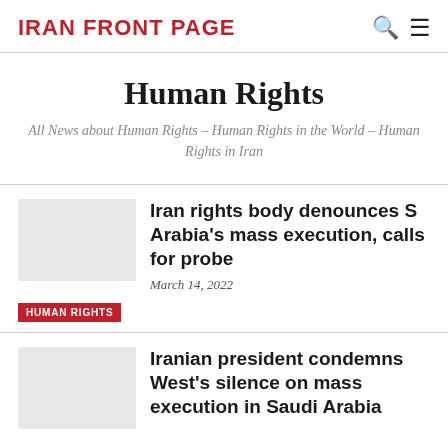IRAN FRONT PAGE
Human Rights
All News about Human Rights – Human Rights in the World – Human Rights in Iran
Iran rights body denounces S Arabia's mass execution, calls for probe
March 14, 2022
HUMAN RIGHTS
Iranian president condemns West's silence on mass execution in Saudi Arabia